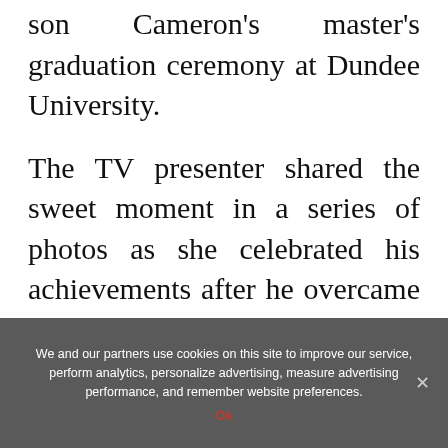son Cameron's master's graduation ceremony at Dundee University.
The TV presenter shared the sweet moment in a series of photos as she celebrated his achievements after he overcame severe learning difficulties in his early life.
Carol took to social media to post a slew of snaps in celebration of his master's award as she documented his special day.
We and our partners use cookies on this site to improve our service, perform analytics, personalize advertising, measure advertising performance, and remember website preferences.
Ok